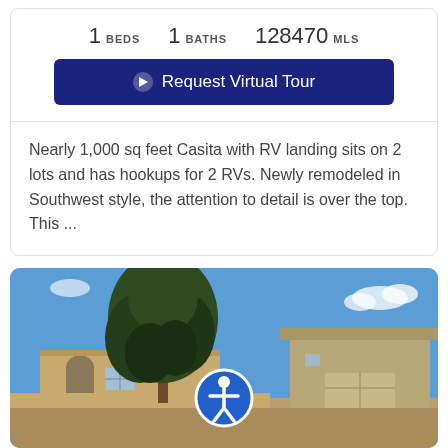1 BEDS   1 BATHS   128470 MLS
Request Virtual Tour
Nearly 1,000 sq feet Casita with RV landing sits on 2 lots and has hookups for 2 RVs. Newly remodeled in Southwest style, the attention to detail is over the top. This ...
[Figure (photo): Exterior photo of a Southwest-style casita with a large pine tree in front, blue sky background, and a detached garage structure. An accessibility icon overlay appears in the center of the image.]